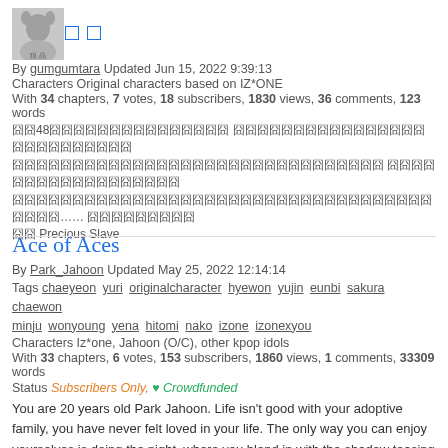[Figure (photo): Thumbnail image of a person with animal ears, with two icon boxes next to it]
By gumgumtara Updated Jun 15, 2022 9:39:13
Characters Original characters based on IZ*ONE
With 34 chapters, 7 votes, 18 subscribers, 1830 views, 36 comments, 123 words
囧囧48囧囧囧囧囧囧囧囧囧囧囧囧囧囧囧 囧囧囧囧囧囧囧囧囧囧囧囧囧囧囧囧囧囧囧囧囧囧囧囧囧囧 囧囧囧囧囧囧囧囧囧囧囧囧囧囧囧囧囧囧囧囧囧囧囧囧囧囧囧囧囧囧囧 囧囧囧囧囧囧囧囧囧囧囧囧囧囧囧囧囧囧 囧囧囧囧囧囧囧囧囧囧囧囧囧囧囧囧囧囧囧囧囧囧囧囧囧囧囧囧囧囧囧囧囧囧囧囧囧囧囧囧囧囧囧…… 囧囧囧囧囧囧囧囧囧 囧囧 Precious Slave
Ace of Aces
By Park_Jahoon Updated May 25, 2022 12:14:14
Tags chaeyeon yuri originalcharacter hyewon yujin eunbi sakura chaewon minju wonyoung yena hitomi nako izone izonexyou
Characters Iz*one, Jahoon (O/C), other kpop idols
With 33 chapters, 6 votes, 153 subscribers, 1860 views, 1 comments, 33309 words
Status Subscribers Only, ♥ Crowdfunded
You are 20 years old Park Jahoon. Life isn't good with your adoptive family, you have never felt loved in your life. The only way you can enjoy yourselves is doing the night, where you blend in with the shadow teasing people. It is all fun until you are kidnapped by the world's most infamous thieves: Iz*one. They steal only the rarest of the rare and this time their target is... you!?